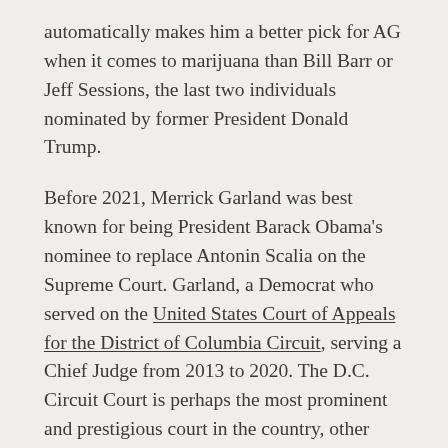automatically makes him a better pick for AG when it comes to marijuana than Bill Barr or Jeff Sessions, the last two individuals nominated by former President Donald Trump.
Before 2021, Merrick Garland was best known for being President Barack Obama's nominee to replace Antonin Scalia on the Supreme Court. Garland, a Democrat who served on the United States Court of Appeals for the District of Columbia Circuit, serving a Chief Judge from 2013 to 2020. The D.C. Circuit Court is perhaps the most prominent and prestigious court in the country, other than the Supreme Court, as it handles a large number of cases involving the federal government. As a D.C. Circuit judge, Garland is an expert on administrative law.
Merrick Garland has been quiet on marijuana